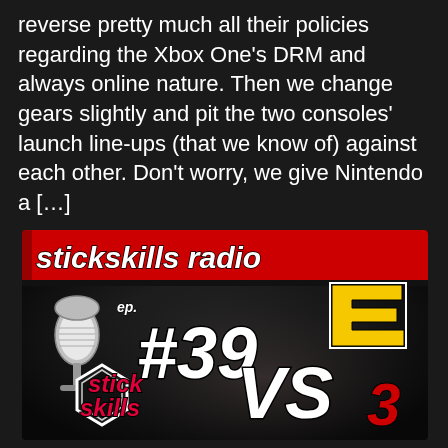reverse pretty much all their policies regarding the Xbox One's DRM and always online nature. Then we change gears slightly and pit the two consoles' launch line-ups (that we know of) against each other. Don't worry, we give Nintendo a […]
[Figure (illustration): Stickskills Radio podcast artwork banner. Episode 39 graphic showing a microphone, hexagonal badge with 'stick skills' in red text, 'VS' in white, and E3 expo logo. Red banner header reads 'stickskills radio' in white italic text. Dark background with spotlight effect.]